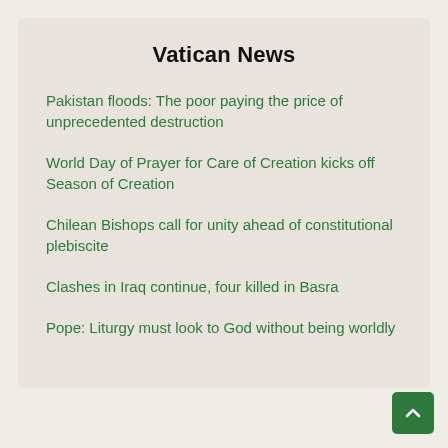Vatican News
Pakistan floods: The poor paying the price of unprecedented destruction
World Day of Prayer for Care of Creation kicks off Season of Creation
Chilean Bishops call for unity ahead of constitutional plebiscite
Clashes in Iraq continue, four killed in Basra
Pope: Liturgy must look to God without being worldly